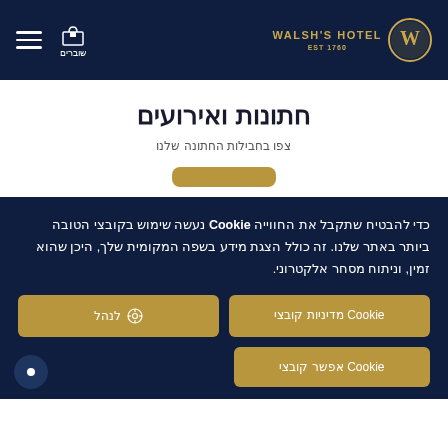[Figure (logo): Walsh's Hotel logo with gold circular emblem and text, EST 1760]
חתונות ואירועים
צפו בחבילות החתונה שלנו
כדי להבטיח שתקבל את החווייה Cookie נעשה שימוש בקובצי הטובה ביותר באתר שלנו. זה כולל הצגת מידע בשפה המקומית שלך, היכן שהוא זמין, וניתוח מסחר אלקטרוני.
Cookie מדיניות קובצי
לנהל
Cookie אפשר קובצי